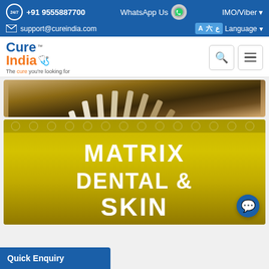+91 9555887700  WhatsApp Us  IMO/Viber
support@cureindia.com  Language
[Figure (logo): CureIndia logo with stethoscope and tagline 'The cure you're looking for']
[Figure (photo): Dental shade guide fan of color samples against brown background]
[Figure (photo): Gold sign reading MATRIX DENTAL & SKIN with ornamental border at top]
Quick Enquiry